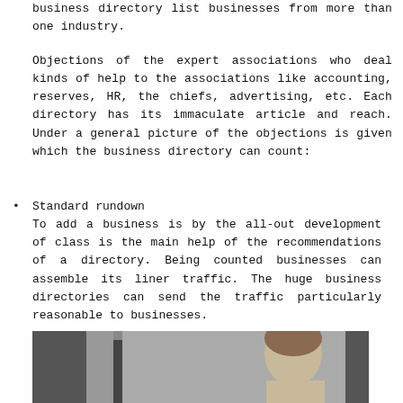business directory list businesses from more than one industry.
Objections of the expert associations who deal kinds of help to the associations like accounting, reserves, HR, the chiefs, advertising, etc. Each directory has its immaculate article and reach. Under a general picture of the objections is given which the business directory can count:
Standard rundown
To add a business is by the all-out development of class is the main help of the recommendations of a directory. Being counted businesses can assemble its liner traffic. The huge business directories can send the traffic particularly reasonable to businesses.
[Figure (photo): Partial view of a person and office/room setting at the bottom of the page]